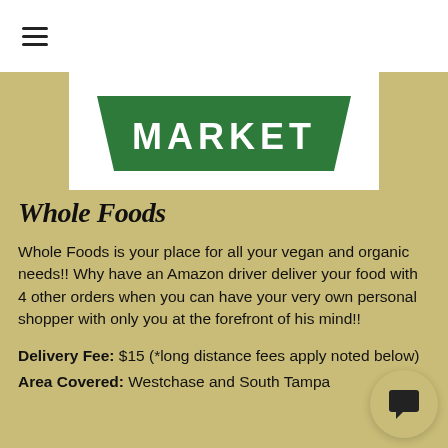[Figure (logo): Whole Foods Market logo — white background with green trapezoid bowl shape and 'MARKET' text in white]
Whole Foods
Whole Foods is your place for all your vegan and organic needs!! Why have an Amazon driver deliver your food with 4 other orders when you can have your very own personal shopper with only you at the forefront of his mind!!
Delivery Fee: $15 (*long distance fees apply noted below)
Area Covered: Westchase and South Tampa